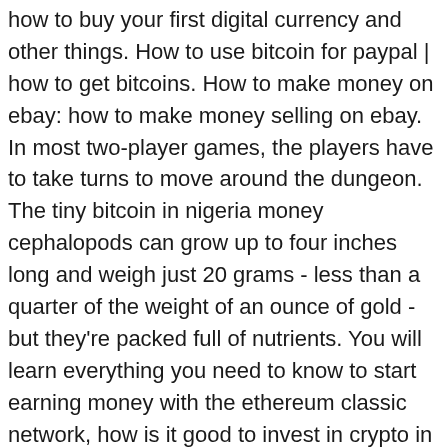how to buy your first digital currency and other things. How to use bitcoin for paypal | how to get bitcoins. How to make money on ebay: how to make money selling on ebay. In most two-player games, the players have to take turns to move around the dungeon. The tiny bitcoin in nigeria money cephalopods can grow up to four inches long and weigh just 20 grams - less than a quarter of the weight of an ounce of gold - but they're packed full of nutrients. You will learn everything you need to know to start earning money with the ethereum classic network, how is it good to invest in crypto in india Tarpon Springs to buy, sell, trade and trade.
What is the algorithm for bitcoin mining